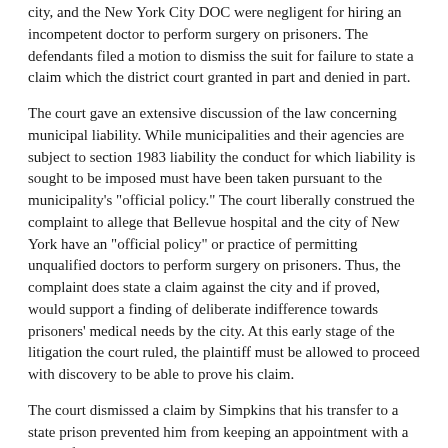city, and the New York City DOC were negligent for hiring an incompetent doctor to perform surgery on prisoners. The defendants filed a motion to dismiss the suit for failure to state a claim which the district court granted in part and denied in part.
The court gave an extensive discussion of the law concerning municipal liability. While municipalities and their agencies are subject to section 1983 liability the conduct for which liability is sought to be imposed must have been taken pursuant to the municipality's "official policy." The court liberally construed the complaint to allege that Bellevue hospital and the city of New York have an "official policy" or practice of permitting unqualified doctors to perform surgery on prisoners. Thus, the complaint does state a claim against the city and if proved, would support a finding of deliberate indifference towards prisoners' medical needs by the city. At this early stage of the litigation the court ruled, the plaintiff must be allowed to proceed with discovery to be able to prove his claim.
The court dismissed a claim by Simpkins that his transfer to a state prison prevented him from keeping an appointment with a doctor for his sinus condition. See: Simpkins v. Bellevue Hospital , 832 F. Supp 69 (SD NY 1993).
As a digital subscriber to Prison Legal News, you can access full text and downloads for this and other premium content.